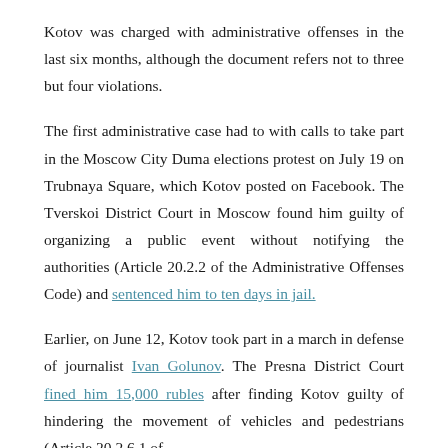Kotov was charged with administrative offenses in the last six months, although the document refers not to three but four violations.
The first administrative case had to with calls to take part in the Moscow City Duma elections protest on July 19 on Trubnaya Square, which Kotov posted on Facebook. The Tverskoi District Court in Moscow found him guilty of organizing a public event without notifying the authorities (Article 20.2.2 of the Administrative Offenses Code) and sentenced him to ten days in jail.
Earlier, on June 12, Kotov took part in a march in defense of journalist Ivan Golunov. The Presna District Court fined him 15,000 rubles after finding Kotov guilty of hindering the movement of vehicles and pedestrians (Article 20.2.6.1 of